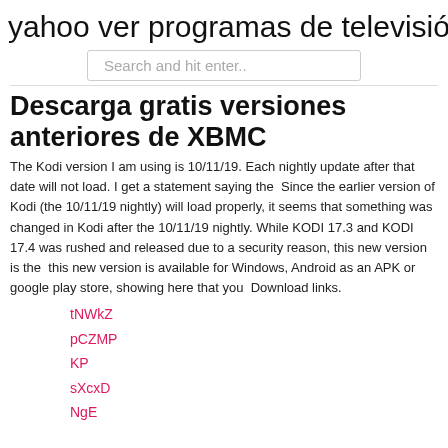yahoo ver programas de televisión
Search and hit enter..
Descarga gratis versiones anteriores de XBMC
The Kodi version I am using is 10/11/19. Each nightly update after that date will not load. I get a statement saying the  Since the earlier version of Kodi (the 10/11/19 nightly) will load properly, it seems that something was changed in Kodi after the 10/11/19 nightly. While KODI 17.3 and KODI 17.4 was rushed and released due to a security reason, this new version is the  this new version is available for Windows, Android as an APK or google play store, showing here that you  Download links.
tNWkZ
pCZMP
KP
sXcxD
NgE